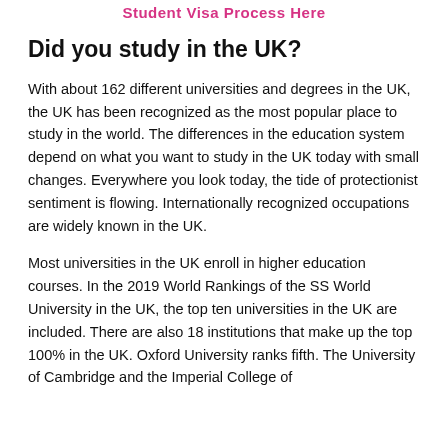Student Visa Process Here
Did you study in the UK?
With about 162 different universities and degrees in the UK, the UK has been recognized as the most popular place to study in the world. The differences in the education system depend on what you want to study in the UK today with small changes. Everywhere you look today, the tide of protectionist sentiment is flowing. Internationally recognized occupations are widely known in the UK.
Most universities in the UK enroll in higher education courses. In the 2019 World Rankings of the SS World University in the UK, the top ten universities in the UK are included. There are also 18 institutions that make up the top 100% in the UK. Oxford University ranks fifth. The University of Cambridge and the Imperial College of